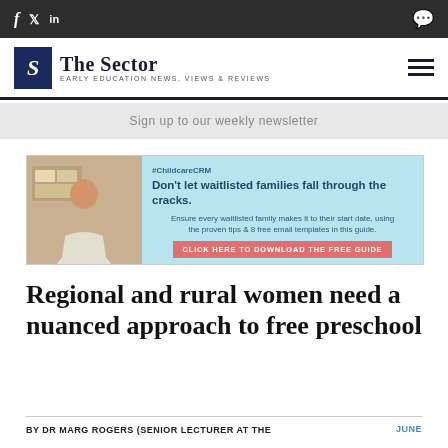f  y  in  [comment icon]
[Figure (logo): The Sector logo — blue square with italic S, text 'The Sector', subtitle 'EARLY EDUCATION NEWS, VIEWS & REVIEWS']
Sign up to our weekly newsletter
[Figure (infographic): ChildcareCRM advertisement banner: 'Don't let waitlisted families fall through the cracks. Ensure every waitlisted family makes it to their start date, using the proven tips & 8 free email templates in this guide. CLICK HERE TO DOWNLOAD THE FREE GUIDE']
Regional and rural women need a nuanced approach to free preschool
BY DR MARG ROGERS (SENIOR LECTURER AT THE
JUNE